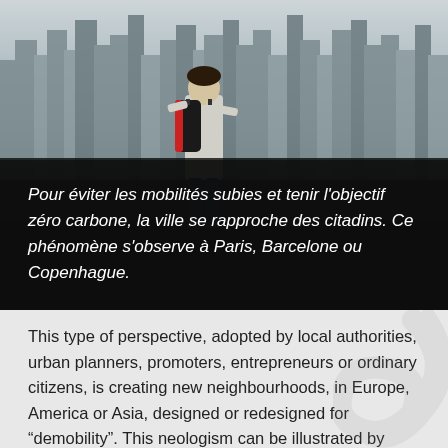[Figure (photo): Person with backpack standing facing a large city skyline with tall skyscrapers, viewed from behind on dark asphalt ground.]
Pour éviter les mobilités subies et tenir l’objectif zéro carbone, la ville se rapproche des citadins. Ce phénomène s’observe à Paris, Barcelone ou Copenhague.
This type of perspective, adopted by local authorities, urban planners, promoters, entrepreneurs or ordinary citizens, is creating new neighbourhoods, in Europe, America or Asia, designed or redesigned for “demobility”. This neologism can be illustrated by three